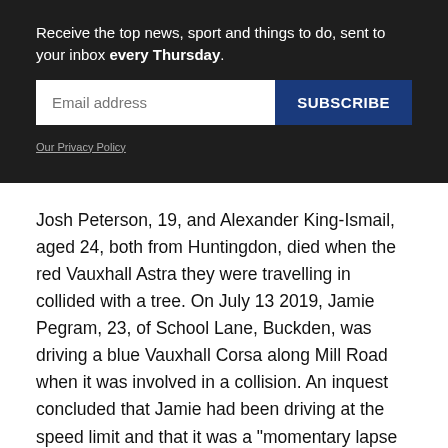Receive the top news, sport and things to do, sent to your inbox every Thursday.
Our Privacy Policy
Josh Peterson, 19, and Alexander King-Ismail, aged 24, both from Huntingdon, died when the red Vauxhall Astra they were travelling in collided with a tree. On July 13 2019, Jamie Pegram, 23, of School Lane, Buckden, was driving a blue Vauxhall Corsa along Mill Road when it was involved in a collision. An inquest concluded that Jamie had been driving at the speed limit and that it was a "momentary lapse of